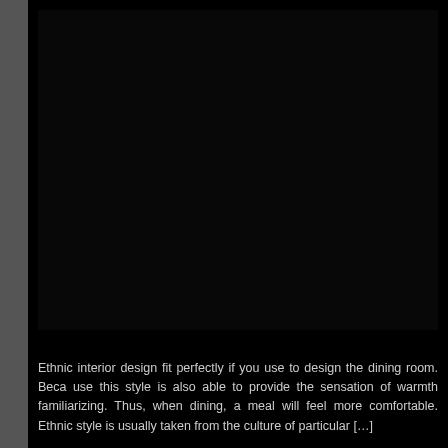[Figure (photo): Large dark/black photograph occupying the upper portion of the page, likely an interior or dining room scene rendered very dark.]
Ethnic interior design fit perfectly if you use to design the dining room. Because this style is also able to provide the sensation of warmth familiarizing. Thus, when dining, a meal will feel more comfortable. Ethnic style is usually taken from the culture of particular [...]